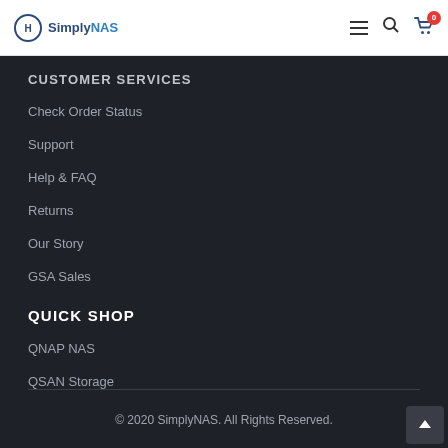SimplyNAS
CUSTOMER SERVICES
Check Order Status
Support
Help & FAQ
Returns
Our Story
GSA Sales
QUICK SHOP
QNAP NAS
QSAN Storage
Synology NAS
© 2020 SimplyNAS. All Rights Reserved.